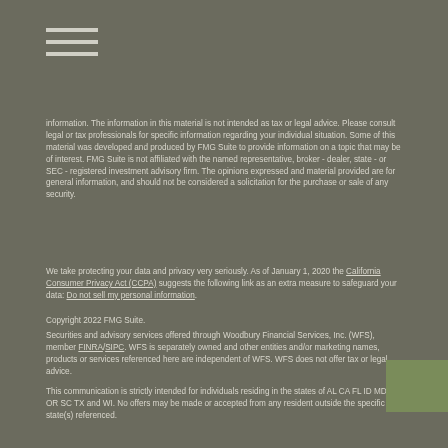[Figure (other): Hamburger menu icon (three horizontal lines)]
information. The information in this material is not intended as tax or legal advice. Please consult legal or tax professionals for specific information regarding your individual situation. Some of this material was developed and produced by FMG Suite to provide information on a topic that may be of interest. FMG Suite is not affiliated with the named representative, broker - dealer, state - or SEC - registered investment advisory firm. The opinions expressed and material provided are for general information, and should not be considered a solicitation for the purchase or sale of any security.
We take protecting your data and privacy very seriously. As of January 1, 2020 the California Consumer Privacy Act (CCPA) suggests the following link as an extra measure to safeguard your data: Do not sell my personal information.
Copyright 2022 FMG Suite.
Securities and advisory services offered through Woodbury Financial Services, Inc. (WFS), member FINRA/SIPC. WFS is separately owned and other entities and/or marketing names, products or services referenced here are independent of WFS. WFS does not offer tax or legal advice.
This communication is strictly intended for individuals residing in the states of AL CA FL ID MD NV OR SC TX and WI. No offers may be made or accepted from any resident outside the specific state(s) referenced.